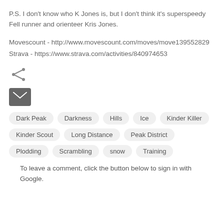P.S. I don't know who K Jones is, but I don't think it's superspeedy Fell runner and orienteer Kris Jones.
Movescount - http://www.movescount.com/moves/move139552829
Strava - https://www.strava.com/activities/840974653
[Figure (infographic): Share icon (triangle with three circles)]
[Figure (infographic): Email/envelope icon (dark grey filled envelope)]
Dark Peak
Darkness
Hills
Ice
Kinder Killer
Kinder Scout
Long Distance
Peak District
Plodding
Scrambling
snow
Training
To leave a comment, click the button below to sign in with Google.